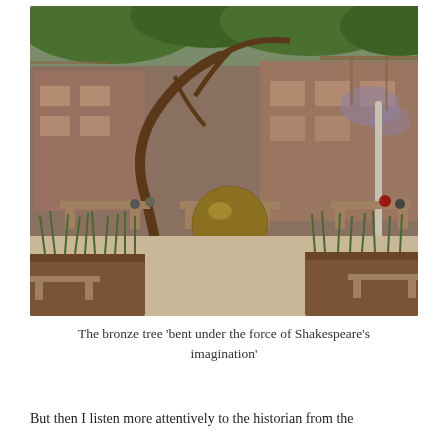[Figure (photo): Outdoor courtyard garden with a large bronze sphere sculpture in the center, a curved bronze tree with green foliage, wooden benches along the perimeter, raised planters with green plants, and red-brick buildings with climbing vines in the background.]
The bronze tree 'bent under the force of Shakespeare's imagination'
But then I listen more attentively to the historian from the